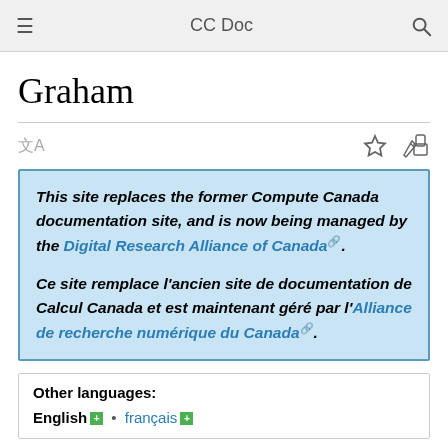CC Doc
Graham
This site replaces the former Compute Canada documentation site, and is now being managed by the Digital Research Alliance of Canada.

Ce site remplace l'ancien site de documentation de Calcul Canada et est maintenant géré par l'Alliance de recherche numérique du Canada.
Other languages:
English • français